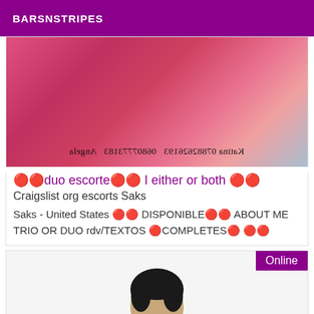BARSNSTRIPES
[Figure (photo): Photo of a person in red lingerie with mirrored text overlay reading: Katina 07882626193 06807773183 Angela]
🔴🔴duo escorte🔴🔴 I either or both 🔴🔴
Craigslist org escorts Saks
Saks - United States 🔴🔴 DISPONIBLE🔴🔴 ABOUT ME TRIO OR DUO rdv/TEXTOS 🔴COMPLETES🔴 🔴🔴
[Figure (photo): Partial photo of a person's head/face, with an 'Online' badge in purple at top right]